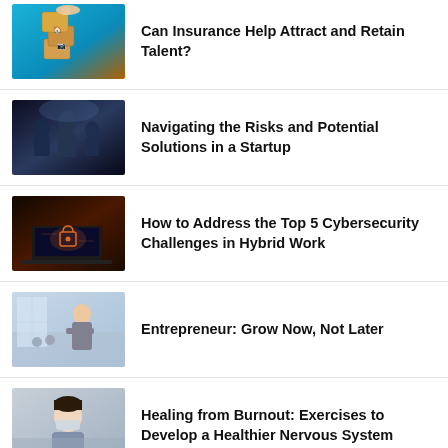[Figure (photo): Hand stacking wooden blocks with insurance/travel icons on a teal blue background]
Can Insurance Help Attract and Retain Talent?
[Figure (photo): Business people in a meeting/discussion, dark moody background]
Navigating the Risks and Potential Solutions in a Startup
[Figure (photo): Laptop with cybersecurity lock icon in dark orange/red lighting]
How to Address the Top 5 Cybersecurity Challenges in Hybrid Work
[Figure (photo): Female entrepreneur in office with arms crossed, light interior background]
Entrepreneur: Grow Now, Not Later
[Figure (photo): Person with mask, healing from burnout concept]
Healing from Burnout: Exercises to Develop a Healthier Nervous System